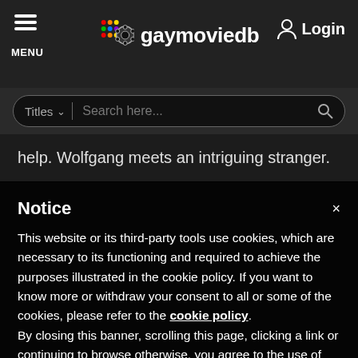gaymoviedb  Login  MENU
Titles  Search here...
help. Wolfgang meets an intriguing stranger.
Notice
This website or its third-party tools use cookies, which are necessary to its functioning and required to achieve the purposes illustrated in the cookie policy. If you want to know more or withdraw your consent to all or some of the cookies, please refer to the cookie policy. By closing this banner, scrolling this page, clicking a link or continuing to browse otherwise, you agree to the use of cookies.